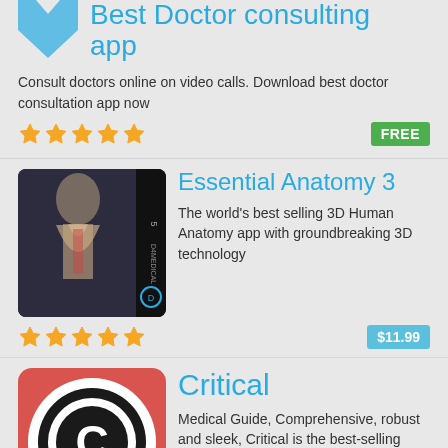Best Doctor consulting app
Consult doctors online on video calls. Download best doctor consultation app now
[Figure (other): 5-star rating and FREE price badge for Best Doctor consulting app]
[Figure (photo): Essential Anatomy 3 app icon showing human anatomy illustration]
Essential Anatomy 3
The world's best selling 3D Human Anatomy app with groundbreaking 3D technology
[Figure (other): 5-star rating and $11.99 price badge for Essential Anatomy 3]
[Figure (logo): Critical app icon - red background with white/black circular C logo]
Critical
Medical Guide, Comprehensive, robust and sleek, Critical is the best-selling critical care app!
[Figure (other): 4-star rating and $14.99 price badge for Critical app]
[Figure (photo): Partial view of a fourth app icon at bottom left]